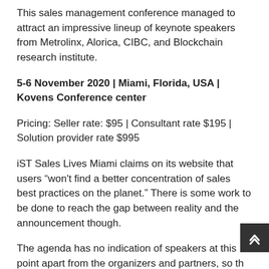This sales management conference managed to attract an impressive lineup of keynote speakers from Metrolinx, Alorica, CIBC, and Blockchain research institute.
5-6 November 2020 | Miami, Florida, USA | Kovens Conference center
Pricing: Seller rate: $95 | Consultant rate $195 | Solution provider rate $995
iST Sales Lives Miami claims on its website that users "won't find a better concentration of sales best practices on the planet." There is some work to be done to reach the gap between reality and the announcement though.
The agenda has no indication of speakers at this point apart from the organizers and partners, so the C-level sales executives are still to be given more